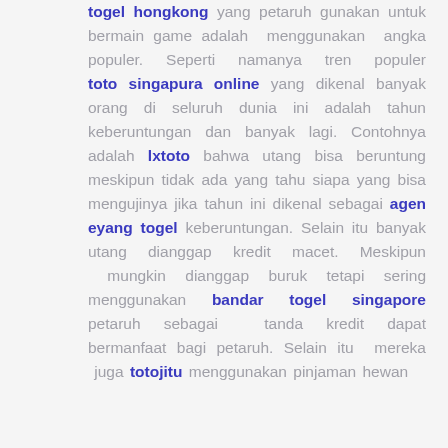togel hongkong yang petaruh gunakan untuk bermain game adalah menggunakan angka populer. Seperti namanya tren populer toto singapura online yang dikenal banyak orang di seluruh dunia ini adalah tahun keberuntungan dan banyak lagi. Contohnya adalah lxtoto bahwa utang bisa beruntung meskipun tidak ada yang tahu siapa yang bisa mengujinya jika tahun ini dikenal sebagai agen eyang togel keberuntungan. Selain itu banyak utang dianggap kredit macet. Meskipun mungkin dianggap buruk tetapi sering menggunakan bandar togel singapore petaruh sebagai tanda kredit dapat bermanfaat bagi petaruh. Selain itu mereka juga totojitu menggunakan pinjaman hewan